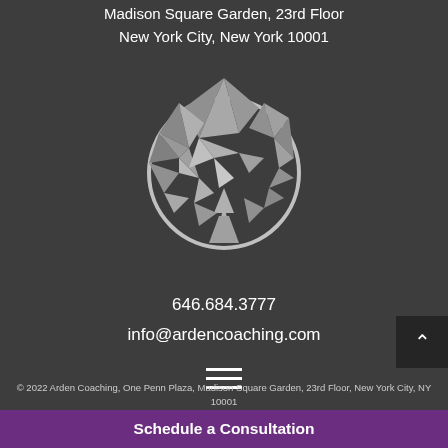Madison Square Garden, 23rd Floor
New York City, New York 10001
[Figure (logo): Arden Coaching low-poly tree logo in greyscale inside a circular border]
646.684.3777
info@ardencoaching.com
[Figure (other): Hamburger menu icon (three horizontal lines)]
© 2022 Arden Coaching, One Penn Plaza, Madison Square Garden, 23rd Floor, New York City, NY 10001
Schedule a Consultation